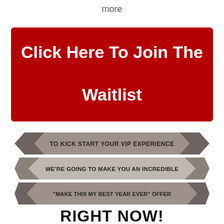more
[Figure (infographic): Red button with white bold text reading 'Click Here To Join The Waitlist']
[Figure (infographic): Three-tiered ribbon/banner graphic with gray/brown colors. Top banner: 'TO KICK START YOUR VIP EXPERIENCE', middle banner: 'WE'RE GOING TO MAKE YOU AN INCREDIBLE', bottom banner: '"MAKE THIS MY BEST YEAR EVER" OFFER', and below in large bold black text: 'RIGHT NOW!']